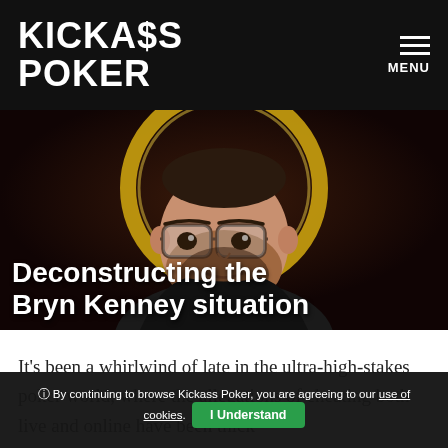KICKA$S POKER | MENU
[Figure (illustration): Illustrated caricature of Bryn Kenney — a man with glasses and a beard, set against a dark background with a large gold poker chip behind him. The image has a painted/illustrated style.]
Deconstructing the Bryn Kenney situation
It's been a whirlwind of late in the ultra-high-stakes poker world, where the allegations of cheating both live and online have been thick
By continuing to browse Kickass Poker, you are agreeing to our use of cookies. I Understand